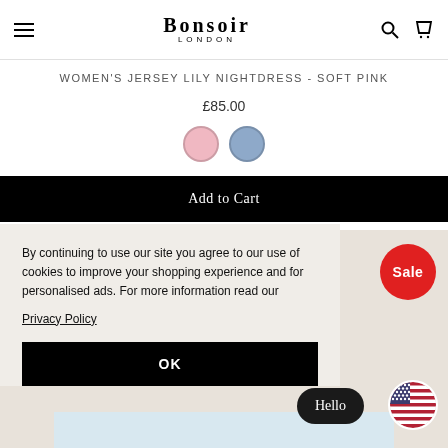BONSOIR LONDON
WOMEN'S JERSEY LILY NIGHTDRESS - SOFT PINK
£85.00
[Figure (other): Two color swatches: soft pink circle and blue/periwinkle circle]
Add to Cart
By continuing to use our site you agree to our use of cookies to improve your shopping experience and for personalised ads. For more information read our
Privacy Policy
OK
Sale
Hello